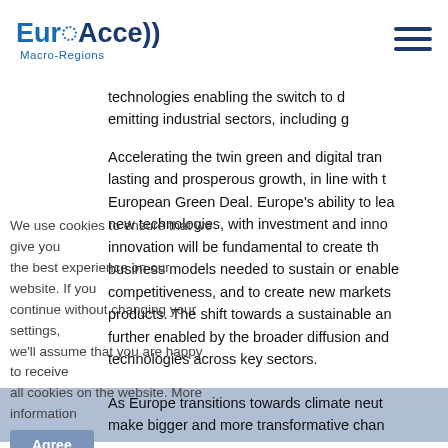EuroAccess Macro-Regions
technologies enabling the switch to d emitting industrial sectors, including g
Accelerating the twin green and digital tran lasting and prosperous growth, in line with t European Green Deal. Europe's ability to lea new technologies, with investment and inno innovation will be fundamental to create th business models needed to sustain or enable competitiveness, and to create new markets products. The shift towards a sustainable an further enabled by the broader diffusion and technologies across key sectors.
We use cookies to ensure that we give you the best experience on our website. If you continue without changing your settings, we'll assume that you are happy to receive all cookies on the website. More information
As Europe transitions towards climate neut make bigger and more transformative chan centrality in a variety of value chains and the emissions reductions. Activities under this D